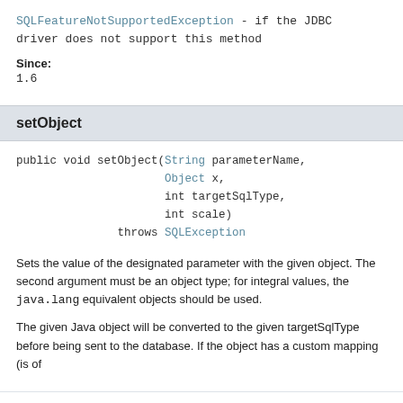SQLFeatureNotSupportedException - if the JDBC driver does not support this method
Since:
1.6
setObject
public void setObject(String parameterName,
                      Object x,
                      int targetSqlType,
                      int scale)
               throws SQLException
Sets the value of the designated parameter with the given object. The second argument must be an object type; for integral values, the java.lang equivalent objects should be used.
The given Java object will be converted to the given targetSqlType before being sent to the database. If the object has a custom mapping (is of